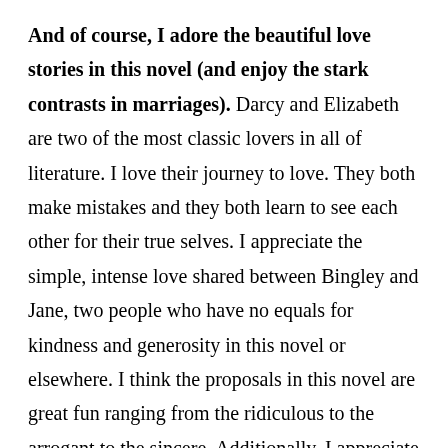And of course, I adore the beautiful love stories in this novel (and enjoy the stark contrasts in marriages). Darcy and Elizabeth are two of the most classic lovers in all of literature. I love their journey to love. They both make mistakes and they both learn to see each other for their true selves. I appreciate the simple, intense love shared between Bingley and Jane, two people who have no equals for kindness and generosity in this novel or elsewhere. I think the proposals in this novel are great fun ranging from the ridiculous to the arrogant to the sincere. Additionally, I appreciate the contrasts between marriages in this novel. We have Darcy and Elizabeth & Bingley and Jane who are perfectly suited for each other and happy. Then we have Charlotte Lucas (who wants